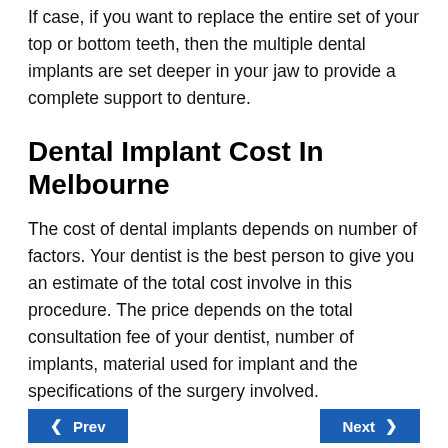If case, if you want to replace the entire set of your top or bottom teeth, then the multiple dental implants are set deeper in your jaw to provide a complete support to denture.
Dental Implant Cost In Melbourne
The cost of dental implants depends on number of factors. Your dentist is the best person to give you an estimate of the total cost involve in this procedure. The price depends on the total consultation fee of your dentist, number of implants, material used for implant and the specifications of the surgery involved.